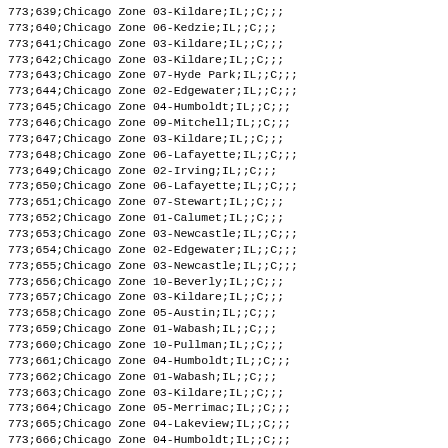| 773;639;Chicago Zone 03-Kildare;IL;;C;;; |
| 773;640;Chicago Zone 06-Kedzie;IL;;C;;; |
| 773;641;Chicago Zone 03-Kildare;IL;;C;;; |
| 773;642;Chicago Zone 03-Kildare;IL;;C;;; |
| 773;643;Chicago Zone 07-Hyde Park;IL;;C;;; |
| 773;644;Chicago Zone 02-Edgewater;IL;;C;;; |
| 773;645;Chicago Zone 04-Humboldt;IL;;C;;; |
| 773;646;Chicago Zone 09-Mitchell;IL;;C;;; |
| 773;647;Chicago Zone 03-Kildare;IL;;C;;; |
| 773;648;Chicago Zone 06-Lafayette;IL;;C;;; |
| 773;649;Chicago Zone 02-Irving;IL;;C;;; |
| 773;650;Chicago Zone 06-Lafayette;IL;;C;;; |
| 773;651;Chicago Zone 07-Stewart;IL;;C;;; |
| 773;652;Chicago Zone 01-Calumet;IL;;C;;; |
| 773;653;Chicago Zone 03-Newcastle;IL;;C;;; |
| 773;654;Chicago Zone 02-Edgewater;IL;;C;;; |
| 773;655;Chicago Zone 03-Newcastle;IL;;C;;; |
| 773;656;Chicago Zone 10-Beverly;IL;;C;;; |
| 773;657;Chicago Zone 03-Kildare;IL;;C;;; |
| 773;658;Chicago Zone 05-Austin;IL;;C;;; |
| 773;659;Chicago Zone 01-Wabash;IL;;C;;; |
| 773;660;Chicago Zone 10-Pullman;IL;;C;;; |
| 773;661;Chicago Zone 04-Humboldt;IL;;C;;; |
| 773;662;Chicago Zone 01-Wabash;IL;;C;;; |
| 773;663;Chicago Zone 03-Kildare;IL;;C;;; |
| 773;664;Chicago Zone 05-Merrimac;IL;;C;;; |
| 773;665;Chicago Zone 04-Lakeview;IL;;C;;; |
| 773;666;Chicago Zone 04-Humboldt;IL;;C;;; |
| 773;667;Chicago Zone 07-Hyde Park;IL;;C;;; |
| 773;668;Chicago Zone 05-Austin;IL;;C;;; |